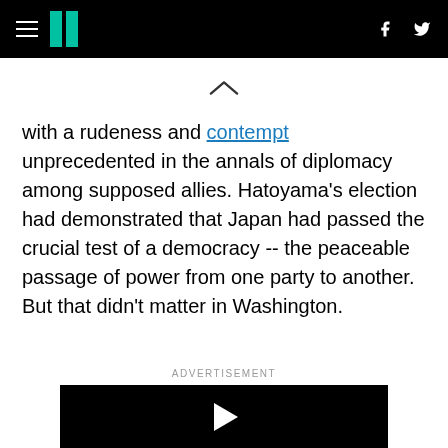HuffPost header with hamburger menu, logo, facebook and twitter icons
[Figure (other): Chevron/caret up arrow icon centered below header]
with a rudeness and contempt unprecedented in the annals of diplomacy among supposed allies. Hatoyama's election had demonstrated that Japan had passed the crucial test of a democracy -- the peaceable passage of power from one party to another. But that didn't matter in Washington.
ADVERTISEMENT
[Figure (other): Black video player box with white play button triangle]